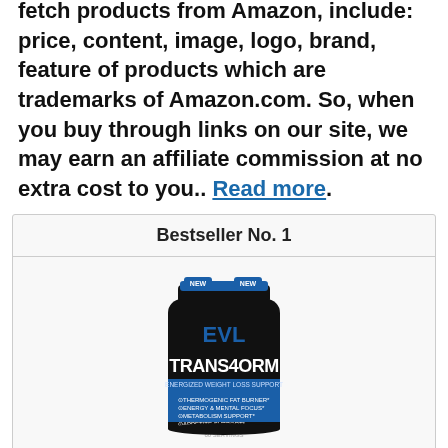fetch products from Amazon, include: price, content, image, logo, brand, feature of products which are trademarks of Amazon.com. So, when you buy through links on our site, we may earn an affiliate commission at no extra cost to you.. Read more.
| Bestseller No. 1 |
| --- |
| [Product image: EVL TRANS4ORM supplement bottle] |
| EVL Thermogenic Fat Burner Pills - Fast |
EVL Thermogenic Fat Burner Pills - Fast